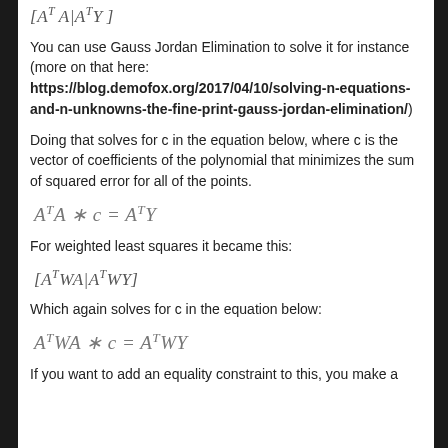You can use Gauss Jordan Elimination to solve it for instance (more on that here: https://blog.demofox.org/2017/04/10/solving-n-equations-and-n-unknowns-the-fine-print-gauss-jordan-elimination/)
Doing that solves for c in the equation below, where c is the vector of coefficients of the polynomial that minimizes the sum of squared error for all of the points.
For weighted least squares it became this:
Which again solves for c in the equation below:
If you want to add an equality constraint to this, you make a